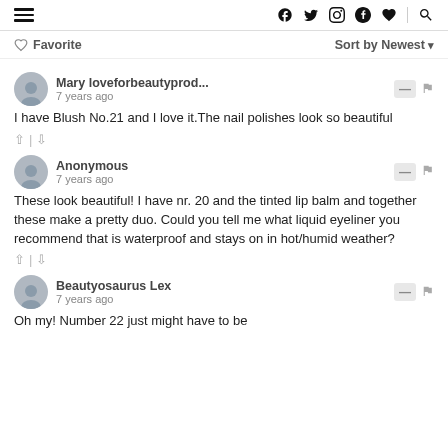Navigation bar with hamburger menu, social icons (f, twitter, instagram, pinterest, heart, search)
♡ Favorite    Sort by Newest ▾
Mary loveforbeautyprod... 7 years ago — I have Blush No.21 and I love it.The nail polishes look so beautiful
Anonymous 7 years ago — These look beautiful! I have nr. 20 and the tinted lip balm and together these make a pretty duo. Could you tell me what liquid eyeliner you recommend that is waterproof and stays on in hot/humid weather?
Beautyosaurus Lex 7 years ago — Oh my! Number 22 just might have to be